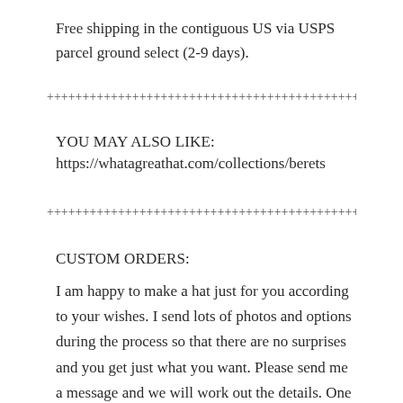Free shipping in the contiguous US via USPS parcel ground select (2-9 days).
++++++++++++++++++++++++++++++++++++++++++++++++++
YOU MAY ALSO LIKE:
https://whatagreathat.com/collections/berets
++++++++++++++++++++++++++++++++++++++++++++++++++
CUSTOM ORDERS:
I am happy to make a hat just for you according to your wishes. I send lots of photos and options during the process so that there are no surprises and you get just what you want. Please send me a message and we will work out the details. One caveat: I will not "copy" the work of another artists or